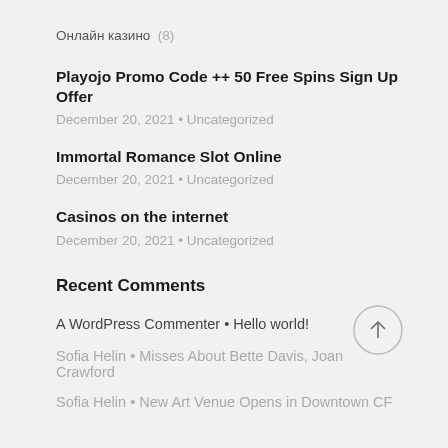Онлайн казино  (8)
Playojo Promo Code ++ 50 Free Spins Sign Up Offer
December 20, 2021 • Uncategorized
Immortal Romance Slot Online
December 20, 2021 • Uncategorized
Casinos on the internet
December 20, 2021 • Uncategorized
Recent Comments
A WordPress Commenter • Hello world!
Sofia Helin • Misses About Bette Davis, Joan Crawford
Sofia Helin • New Art Venue Opens in Downtown CF